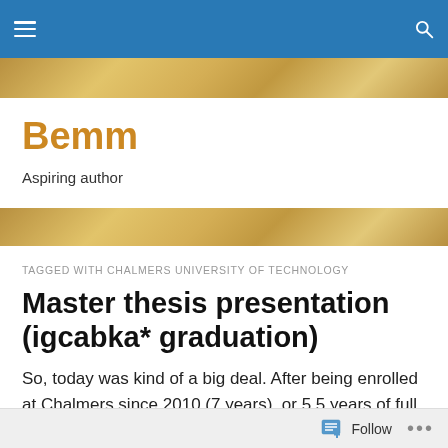Bemm – navigation bar
Bemm
Aspiring author
TAGGED WITH CHALMERS UNIVERSITY OF TECHNOLOGY
Master thesis presentation (igcabka* graduation)
So, today was kind of a big deal. After being enrolled at Chalmers since 2010 (7 years), or 5.5 years of full time studies, I am finally done. The report was approved a
Follow